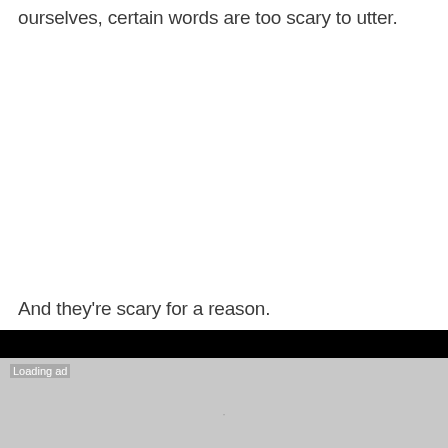ourselves, certain words are too scary to utter.
And they're scary for a reason.
[Figure (other): Advertisement placeholder with black header bar and gray loading area showing 'Loading ad' text]